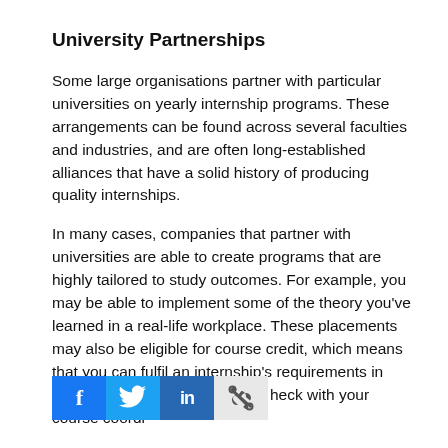University Partnerships
Some large organisations partner with particular universities on yearly internship programs. These arrangements can be found across several faculties and industries, and are often long-established alliances that have a solid history of producing quality internships.
In many cases, companies that partner with universities are able to create programs that are highly tailored to study outcomes. For example, you may be able to implement some of the theory you've learned in a real-life workplace. These placements may also be eligible for course credit, which means that you can fulfil an internship's requirements in place of a stan… heck with your course coordi… is the case